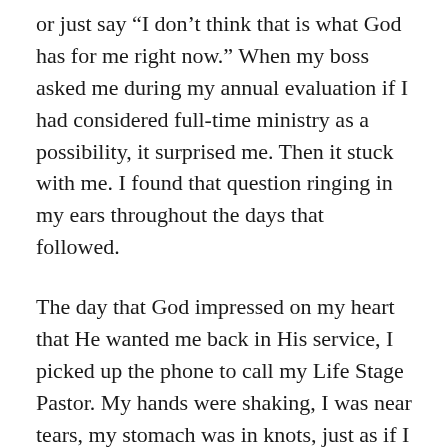or just say “I don’t think that is what God has for me right now.” When my boss asked me during my annual evaluation if I had considered full-time ministry as a possibility, it surprised me. Then it stuck with me. I found that question ringing in my ears throughout the days that followed.
The day that God impressed on my heart that He wanted me back in His service, I picked up the phone to call my Life Stage Pastor. My hands were shaking, I was near tears, my stomach was in knots, just as if I was in the middle of a giant drop leading into the barrel roll on a roller coaster. It can be an exciting, yet frightening time when God taps you to serve Him. Henry Blackaby calls this a Crisis of Belief in his